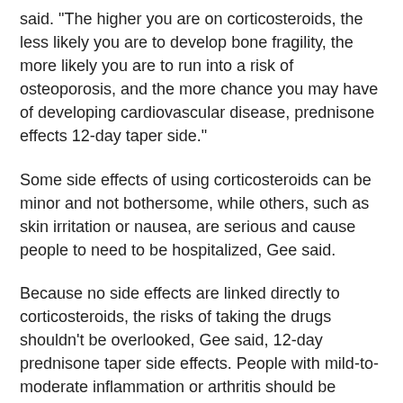said. "The higher you are on corticosteroids, the less likely you are to develop bone fragility, the more likely you are to run into a risk of osteoporosis, and the more chance you may have of developing cardiovascular disease, prednisone effects 12-day taper side."
Some side effects of using corticosteroids can be minor and not bothersome, while others, such as skin irritation or nausea, are serious and cause people to need to be hospitalized, Gee said.
Because no side effects are linked directly to corticosteroids, the risks of taking the drugs shouldn't be overlooked, Gee said, 12-day prednisone taper side effects. People with mild-to-moderate inflammation or arthritis should be advised to use antibiotics first and use a steroid to treat their corticosteroids.